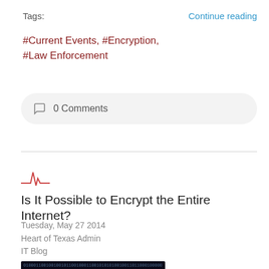Tags:
Continue reading
#Current Events, #Encryption, #Law Enforcement
0 Comments
[Figure (logo): Heart of Texas IT Blog logo — red EKG/heartbeat waveform icon]
Is It Possible to Encrypt the Entire Internet?
Tuesday, May 27 2014
Heart of Texas Admin
IT Blog
[Figure (photo): Dark background with glowing blue light and overlaid binary/hex code text, representing digital encryption.]